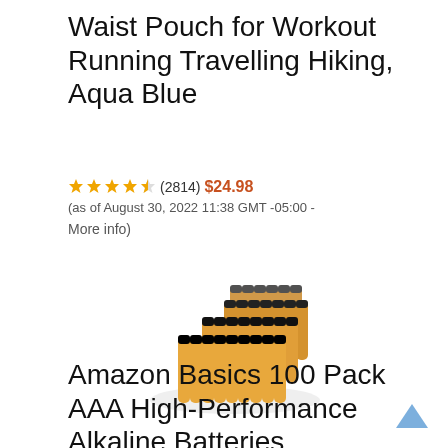Waist Pouch for Workout Running Travelling Hiking, Aqua Blue
★★★★½ (2814) $24.98 (as of August 30, 2022 11:38 GMT -05:00 - More info)
[Figure (photo): Photo of a large group of AAA alkaline batteries arranged in a triangular/wedge formation, gold and black colored.]
Amazon Basics 100 Pack AAA High-Performance Alkaline Batteries...